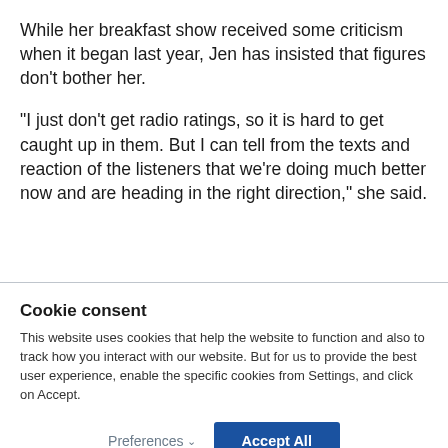While her breakfast show received some criticism when it began last year, Jen has insisted that figures don’t bother her.
“I just don’t get radio ratings, so it is hard to get caught up in them. But I can tell from the texts and reaction of the listeners that we’re doing much better now and are heading in the right direction,” she said.
Cookie consent
This website uses cookies that help the website to function and also to track how you interact with our website. But for us to provide the best user experience, enable the specific cookies from Settings, and click on Accept.
Preferences ∨  Accept All